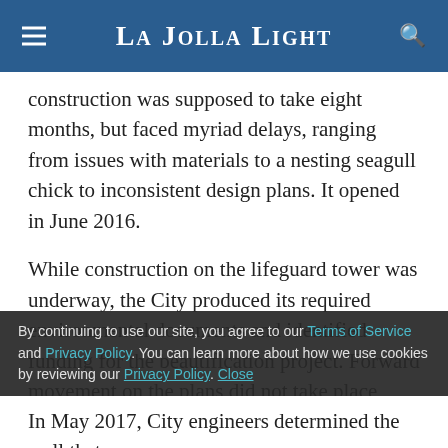La Jolla Light
construction was supposed to take eight months, but faced myriad delays, ranging from issues with materials to a nesting seagull chick to inconsistent design plans. It opened in June 2016.
While construction on the lifeguard tower was underway, the City produced its required environmental documents and identified funding for the beautification project. Forward movement on the plans did not take place until October 2016, when City engineers set
By continuing to use our site, you agree to our Terms of Service and Privacy Policy. You can learn more about how we use cookies by reviewing our Privacy Policy. Close
In May 2017, City engineers determined the wall that